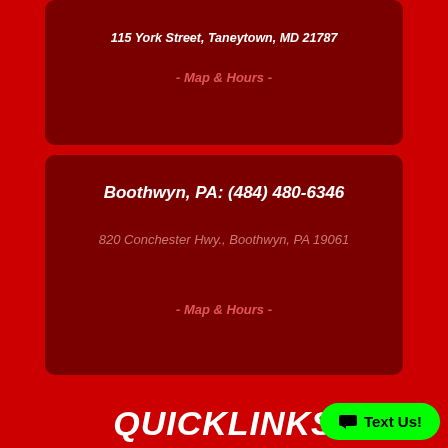115 York Street, Taneytown, MD 21787
- Map & Hours -
Boothwyn, PA: (484) 480-6346
820 Conchester Hwy., Boothwyn, PA 19061
- Map & Hours -
QUICKLINKS
Trailers
Hitches
Outdoor Power Equipment
Snow Plows
Truck Accessories